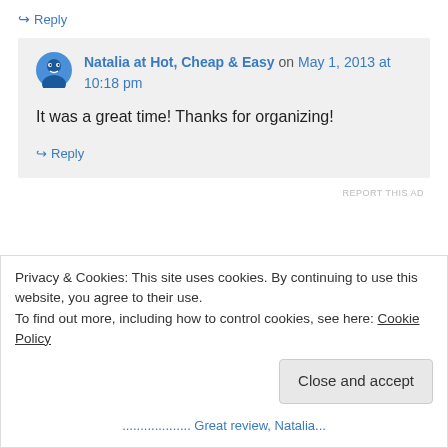↪ Reply
Natalia at Hot, Cheap & Easy on May 1, 2013 at 10:18 pm
It was a great time! Thanks for organizing!
↪ Reply
REPORT THIS AD
Privacy & Cookies: This site uses cookies. By continuing to use this website, you agree to their use. To find out more, including how to control cookies, see here: Cookie Policy
Close and accept